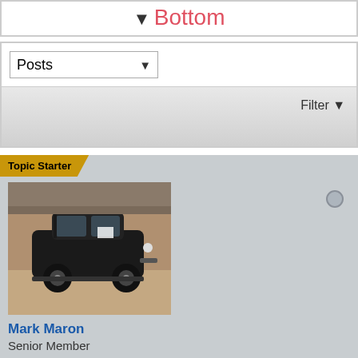▼ Bottom
Posts (dropdown)
Filter ▼
Topic Starter
[Figure (photo): Profile avatar photo of a vintage black antique car displayed in what appears to an indoor showroom or garage]
Mark Maron
Senior Member
[Figure (logo): VFF Sponsoring Member circular badge/logo with red text and a gray diamond shield in the center]
Join Date: May 2017   Posts: 1462
Location: Wauconda